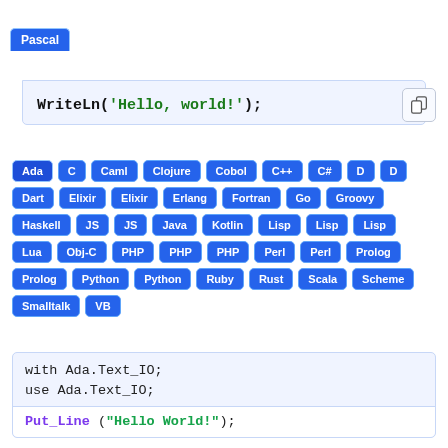[Figure (screenshot): Pascal tab with code block showing: WriteLn('Hello, world!'); with a copy button icon]
Ada, C, Caml, Clojure, Cobol, C++, C#, D, D, Dart, Elixir, Elixir, Erlang, Fortran, Go, Groovy, Haskell, JS, JS, Java, Kotlin, Lisp, Lisp, Lisp, Lua, Obj-C, PHP, PHP, PHP, Perl, Perl, Prolog, Prolog, Python, Python, Ruby, Rust, Scala, Scheme, Smalltalk, VB
[Figure (screenshot): Ada code block showing: with Ada.Text_IO; use Ada.Text_IO; Put_Line ("Hello World!");]